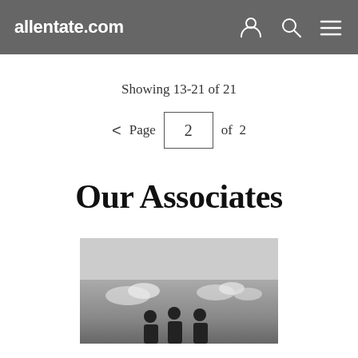allentate.com
Showing 13-21 of 21
< Page 2 of 2
Our Associates
[Figure (photo): A black and white photograph of three people standing outdoors with a cloudy sky in the background, partially visible at the bottom of the page.]